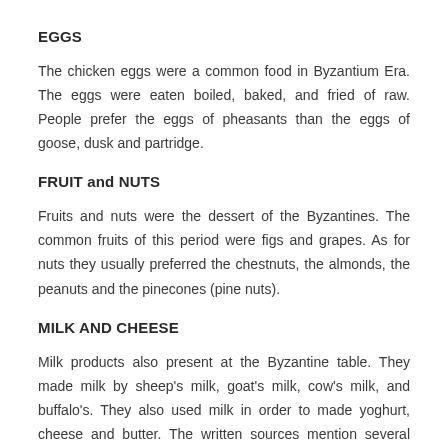EGGS
The chicken eggs were a common food in Byzantium Era. The eggs were eaten boiled, baked, and fried of raw. People prefer the eggs of pheasants than the eggs of goose, dusk and partridge.
FRUIT and NUTS
Fruits and nuts were the dessert of the Byzantines. The common fruits of this period were figs and grapes. As for nuts they usually preferred the chestnuts, the almonds, the peanuts and the pinecones (pine nuts).
MILK AND CHEESE
Milk products also present at the Byzantine table. They made milk by sheep's milk, goat's milk, cow's milk, and buffalo's. They also used milk in order to made yoghurt, cheese and butter. The written sources mention several varieties of